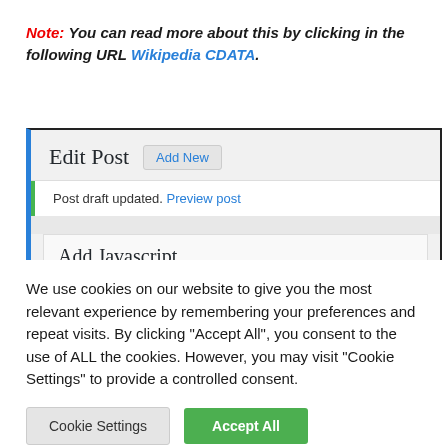Note: You can read more about this by clicking in the following URL Wikipedia CDATA.
[Figure (screenshot): Screenshot of a WordPress Edit Post admin screen showing 'Edit Post' heading with 'Add New' button, a green-bordered notice saying 'Post draft updated. Preview post', a grey spacer, and an 'Add Javascript' section with a permalink bar showing 'Permalink: http://localhost/wordpress361/estore-nextgen...llery-tutori']
We use cookies on our website to give you the most relevant experience by remembering your preferences and repeat visits. By clicking "Accept All", you consent to the use of ALL the cookies. However, you may visit "Cookie Settings" to provide a controlled consent.
Cookie Settings   Accept All